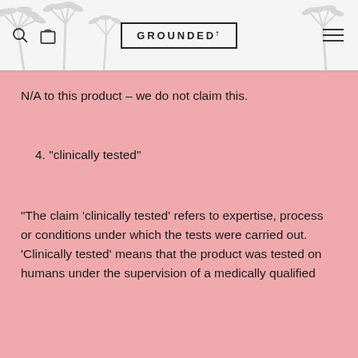GROUNDED
N/A to this product – we do not claim this.
4.  "clinically tested"
"The claim 'clinically tested' refers to expertise, process or conditions under which the tests were carried out. 'Clinically tested' means that the product was tested on humans under the supervision of a medically qualified